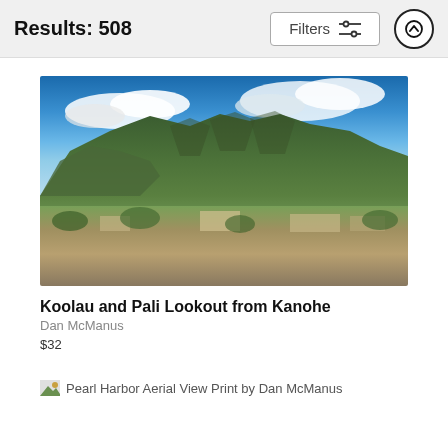Results: 508
[Figure (photo): Aerial landscape photo of Koolau mountain range and Pali Lookout as seen from Kanohe, Hawaii, showing dramatic green ridged mountains under cloudy blue sky with town/residential area in foreground]
Koolau and Pali Lookout from Kanohe
Dan McManus
$32
[Figure (photo): Pearl Harbor Aerial View Print by Dan McManus — thumbnail placeholder image]
Pearl Harbor Aerial View Print by Dan McManus